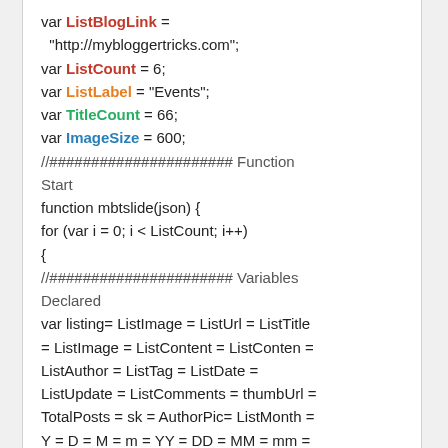var ListBlogLink = "http://mybloggertricks.com";
var ListCount = 6;
var ListLabel = "Events";
var TitleCount = 66;
var ImageSize = 600;
//###################### Function Start
function mbtslide(json) {
for (var i = 0; i < ListCount; i++)
{
//###################### Variables Declared
var listing= ListImage = ListUrl = ListTitle = ListImage = ListContent = ListConten = ListAuthor = ListTag = ListDate = ListUpdate = ListComments = thumbUrl = TotalPosts = sk = AuthorPic= ListMonth = Y = D = M = m = YY = DD = MM = mm =